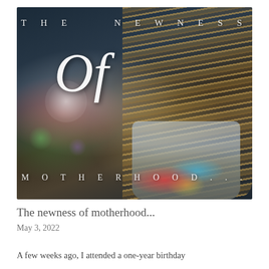[Figure (photo): A jar full of paint brushes with colorful paint-stained handles against a dark blurred bokeh background. White script and serif text overlaid reading 'THE NEWNESS Of MOTHERHOOD...']
The newness of motherhood...
May 3, 2022
A few weeks ago, I attended a one-year birthday